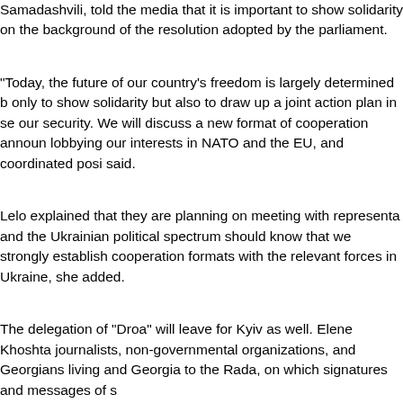Samadashvili, told the media that it is important to show solidarity on the background of the resolution adopted by the parliament.
“Today, the future of our country’s freedom is largely determined b… only to show solidarity but also to draw up a joint action plan in se… our security. We will discuss a new format of cooperation announ… lobbying our interests in NATO and the EU, and coordinated posi… said.
Lelo explained that they are planning on meeting with representa… and the Ukrainian political spectrum should know that we strongly… establish cooperation formats with the relevant forces in Ukraine,… she added.
The delegation of “Droa” will leave for Kyiv as well. Elene Khoshta… journalists, non-governmental organizations, and Georgians living… and Georgia to the Rada, on which signatures and messages of s…
“We want to meet the Georgian military where they are. It depenc… not want to bother too much, but if we can, then we will go to that…
According to “Strategy Builder”, Giorgi Vashadze is already in Uk…
“United National Movement” will fly from Tbilisi on February 3. Kh… despite their wish, the visit of the Parliamentary Friendship Group… her, if there is a coincidence of time, they will gladly hold joint me…
It is known that after the adoption of the resolution in support of U…